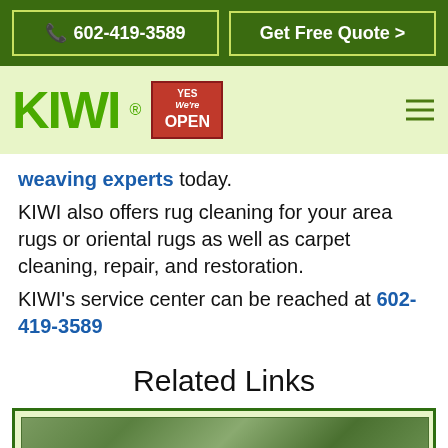602-419-3589 | Get Free Quote >
[Figure (logo): KIWI logo with registered trademark and Yes We're Open badge, plus hamburger menu icon]
weaving experts today.
KIWI also offers rug cleaning for your area rugs or oriental rugs as well as carpet cleaning, repair, and restoration.
KIWI's service center can be reached at 602-419-3589
Related Links
[Figure (photo): Photo thumbnail of a rug or carpet, partially visible at the bottom of the page]